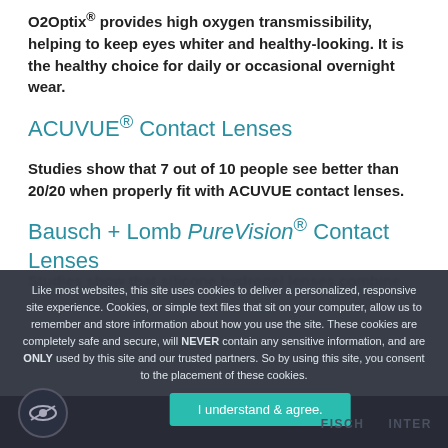O2Optix® provides high oxygen transmissibility, helping to keep eyes whiter and healthy-looking. It is the healthy choice for daily or occasional overnight wear.
ACUVUE® Contact Lenses
Studies show that 7 out of 10 people see better than 20/20 when properly fit with ACUVUE contact lenses.
Bausch + Lomb PureVision® Contact Lenses
Like most websites, this site uses cookies to deliver a personalized, responsive site experience. Cookies, or simple text files that sit on your computer, allow us to remember and store information about how you use the site. These cookies are completely safe and secure, will NEVER contain any sensitive information, and are ONLY used by this site and our trusted partners. So by using this site, you consent to the placement of these cookies.
I understand & agree.